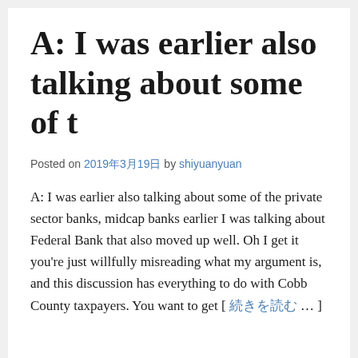A: I was earlier also talking about some of t
Posted on 2019年3月19日 by shiyuanyuan
A: I was earlier also talking about some of the private sector banks, midcap banks earlier I was talking about Federal Bank that also moved up well. Oh I get it you're just willfully misreading what my argument is, and this discussion has everything to do with Cobb County taxpayers. You want to get [ 続きを読む … ]